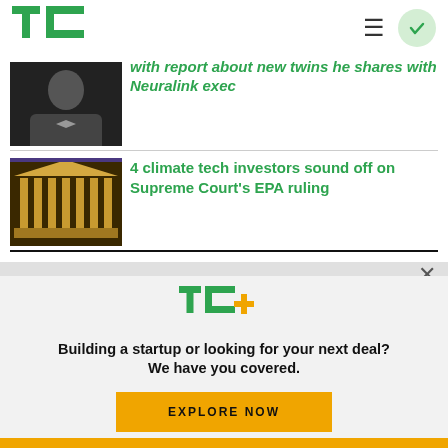[Figure (logo): TechCrunch TC logo in green]
≡ (hamburger menu icon)
[Figure (other): Circular checkmark button in light green]
[Figure (photo): Thumbnail photo of a man in formal attire (partially visible)]
with report about new twins he shares with Neuralink exec
[Figure (photo): Thumbnail photo of the Supreme Court building lit at night]
4 climate tech investors sound off on Supreme Court's EPA ruling
[Figure (logo): TC+ logo with green TC and orange plus sign]
Building a startup or looking for your next deal? We have you covered.
EXPLORE NOW